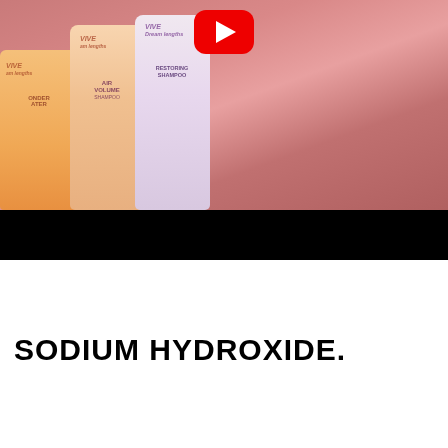[Figure (screenshot): Screenshot of a YouTube video thumbnail showing L'Oreal Elvive/Vive haircare product bottles (shampoo) in pink/peach tones with a YouTube play button overlay. Bottom portion of video is black (video controls area).]
[Figure (infographic): Red banner button with text 'CLICK FOR BEST PRICE!' where 'BEST PRICE!' is in yellow text.]
SODIUM HYDROXIDE.
[Figure (infographic): Black box button with white upward arrow chevron and text 'TOP' — a scroll-to-top navigation button.]